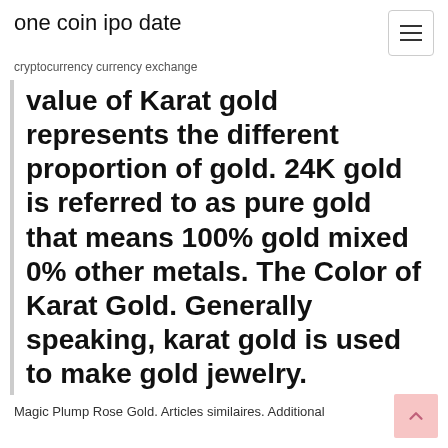one coin ipo date
cryptocurrency currency exchange
value of Karat gold represents the different proportion of gold. 24K gold is referred to as pure gold that means 100% gold mixed 0% other metals. The Color of Karat Gold. Generally speaking, karat gold is used to make gold jewelry.
Magic Plump Rose Gold. Articles similaires. Additional